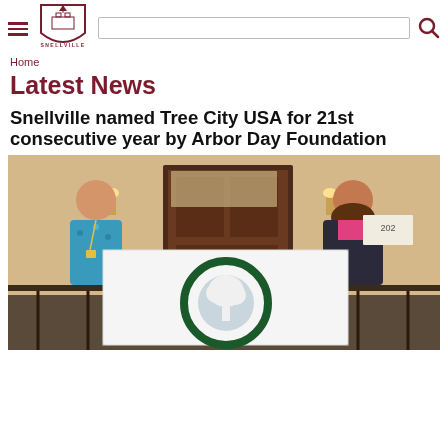Snellville [logo] [search bar] [search icon]
Home
Latest News
Snellville named Tree City USA for 21st consecutive year by Arbor Day Foundation
[Figure (photo): Two people standing on an indoor balcony holding a white Tree City USA flag with a green circular tree logo. The man on the left wears a blue floral shirt and lanyard; the woman on the right wears a dark jacket over a pink shirt. A door and wall sconces are visible in the background.]